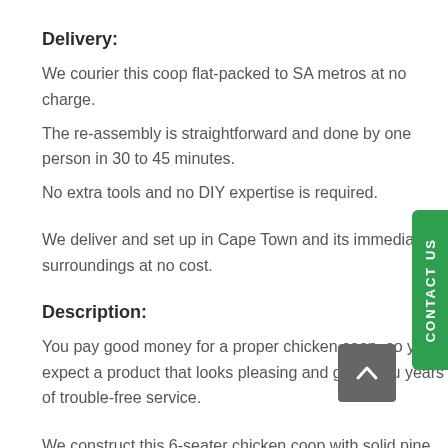Delivery:
We courier this coop flat-packed to SA metros at no charge.
The re-assembly is straightforward and done by one person in 30 to 45 minutes.
No extra tools and no DIY expertise is required.
We deliver and set up in Cape Town and its immediate surroundings at no cost.
Description:
You pay good money for a proper chicken coop, so you expect a product that looks pleasing and gives you years of trouble-free service.
We construct this 6-seater chicken coop with solid pine